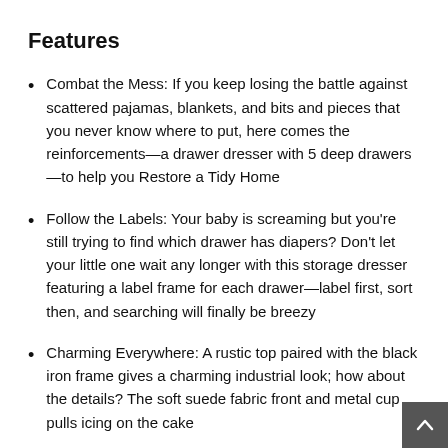Features
Combat the Mess: If you keep losing the battle against scattered pajamas, blankets, and bits and pieces that you never know where to put, here comes the reinforcements—a drawer dresser with 5 deep drawers—to help you Restore a Tidy Home
Follow the Labels: Your baby is screaming but you're still trying to find which drawer has diapers? Don't let your little one wait any longer with this storage dresser featuring a label frame for each drawer—label first, sort then, and searching will finally be breezy
Charming Everywhere: A rustic top paired with the black iron frame gives a charming industrial look; how about the details? The soft suede fabric front and metal cup pulls icing on the cake